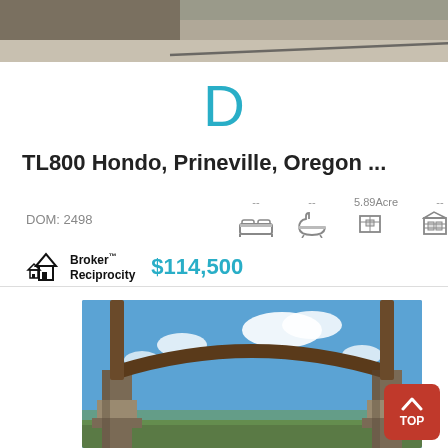[Figure (photo): Top partial photo of a stone/rocky landscape with shadows and a watermark in the corner]
D
TL800 Hondo, Prineville, Oregon ...
DOM: 2498   --   --   5.89Acre   --   $114,500
[Figure (logo): Broker Reciprocity logo with house icon]
[Figure (photo): Photo of a rustic wooden gate/pergola structure with stone pillars against a blue sky with clouds]